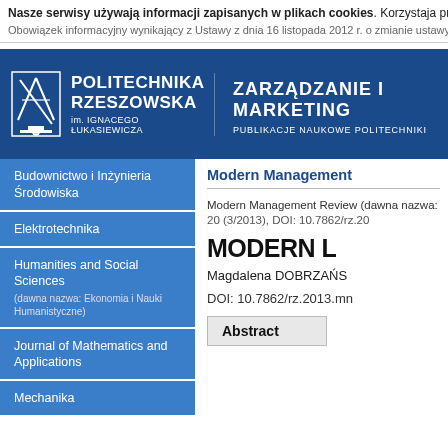Nasze serwisy używają informacji zapisanych w plikach cookies. Korzystaja przeglądarki, które możesz zmienić w dowolnej chwili. Więcej informacji odnośnie
Obowiązek informacyjny wynikający z Ustawy z dnia 16 listopada 2012 r. o zmianie ustawy – Prawo te
[Figure (logo): Politechnika Rzeszowska im. Ignacego Łukasiewicza header banner with logo and ZARZĄDZANIE I MARKETING PUBLIKACJE NAUKOWE POLITECHNIKI text]
Budownictwo i Inżynieria Środowiska
Elektrotechnika
Humanities and Social Sciences (dawna nazwa: Ekonomia i Nauki Humanistyczne)
Journal of Mathematics and Applications
Mechanika
Modern Management Review (dawna nazwa: Zarządzanie i Marketing)
Modern Management
Modern Management Review (dawna nazwa: Zarządzanie 20 (3/2013), DOI: 10.7862/rz.20
MODERN L
Magdalena DOBRZAŃS
DOI: 10.7862/rz.2013.mn
Abstract